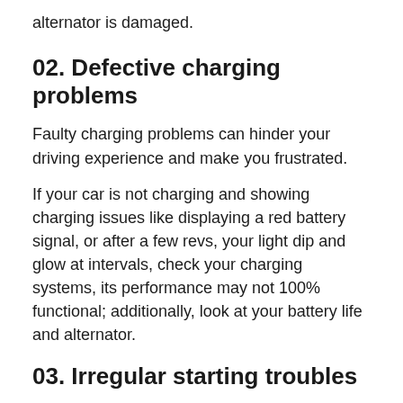alternator is damaged.
02. Defective charging problems
Faulty charging problems can hinder your driving experience and make you frustrated.
If your car is not charging and showing charging issues like displaying a red battery signal, or after a few revs, your light dip and glow at intervals, check your charging systems, its performance may not 100% functional; additionally, look at your battery life and alternator.
03. Irregular starting troubles